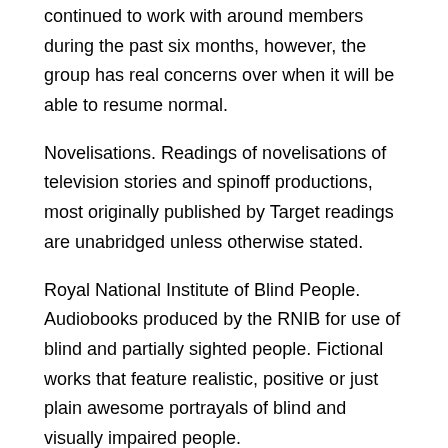continued to work with around members during the past six months, however, the group has real concerns over when it will be able to resume normal.
Novelisations. Readings of novelisations of television stories and spinoff productions, most originally published by Target readings are unabridged unless otherwise stated.
Royal National Institute of Blind People. Audiobooks produced by the RNIB for use of blind and partially sighted people. Fictional works that feature realistic, positive or just plain awesome portrayals of blind and visually impaired people.
Score A book's total score is based on multiple factors, including the number of people who have voted for it and how highly those voters ranked the book. This article reports the findings of research commissioned by the Royal National Institute of Blind People to explore the impacts of reading for pleasure on blind and partially sighted adults.
Data were collected via interviews, an online survey and six case